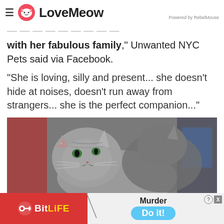LoveMeow — Powered by RebelMouse
with her fabulous family," Unwanted NYC Pets said via Facebook.
"She is loving, silly and present... she doesn't hide at noises, doesn't run away from strangers... she is the perfect companion..."
[Figure (photo): Close-up photo of a grey tabby cat looking at the camera, with a blurred indoor background including red decorations and a computer monitor.]
[Figure (screenshot): Advertisement banner for BitLife game showing red background with BitLife logo on left, and 'Murder Do it!' text with a cyan button on the right. Has close/question buttons in top right.]